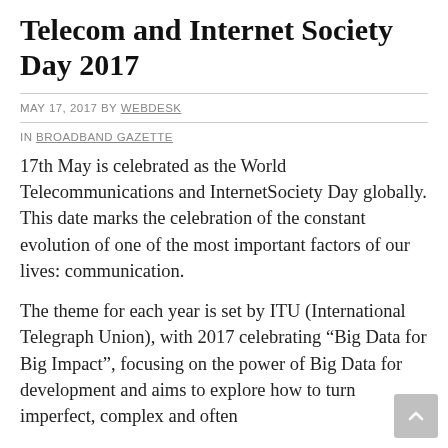Telecom and Internet Society Day 2017
MAY 17, 2017 BY WEBDESK
IN BROADBAND GAZETTE
17th May is celebrated as the World Telecommunications and InternetSociety Day globally. This date marks the celebration of the constant evolution of one of the most important factors of our lives: communication.
The theme for each year is set by ITU (International Telegraph Union), with 2017 celebrating “Big Data for Big Impact”, focusing on the power of Big Data for development and aims to explore how to turn imperfect, complex and often